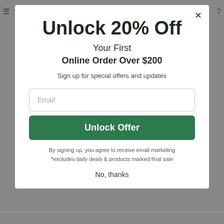Unlock 20% Off
Your First
Online Order Over $200
Sign up for special offers and updates
[Figure (screenshot): Email input field with placeholder text 'Email']
Unlock Offer
By signing up, you agree to receive email marketing
*excludes daily deals & products marked final sale
No, thanks